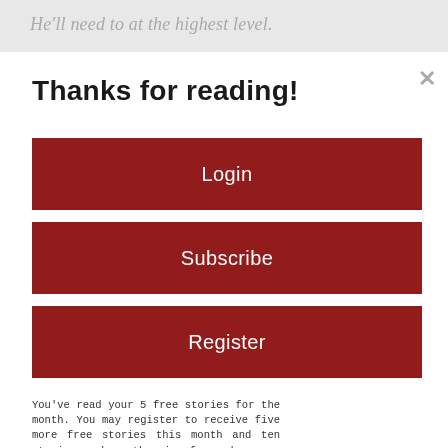He'll need to at the highest level.
Thanks for reading!
Login
Subscribe
Register
You've read your 5 free stories for the month. You may register to receive five more free stories this month and ten stories each month going forward.